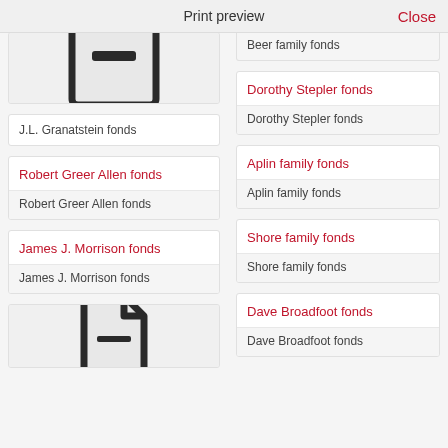Print preview    Close
[Figure (illustration): Document icon with minus/remove symbol, partially cropped at top]
J.L. Granatstein fonds
Beer family fonds (partially cropped at top, right column)
Dorothy Stepler fonds
Dorothy Stepler fonds
Robert Greer Allen fonds
Robert Greer Allen fonds
Aplin family fonds
Aplin family fonds
James J. Morrison fonds
James J. Morrison fonds
Shore family fonds
Shore family fonds
[Figure (illustration): Document/file icon, partially cropped at bottom]
Dave Broadfoot fonds
Dave Broadfoot fonds